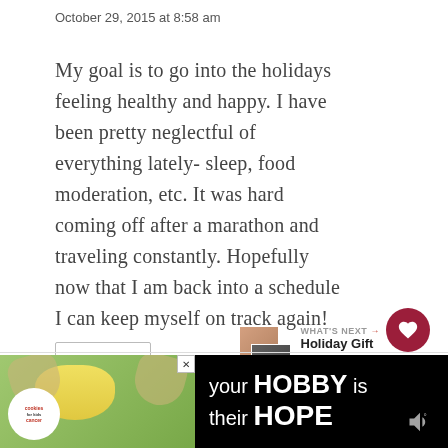October 29, 2015 at 8:58 am
My goal is to go into the holidays feeling healthy and happy. I have been pretty neglectful of everything lately- sleep, food moderation, etc. It was hard coming off after a marathon and traveling constantly. Hopefully now that I am back into a schedule I can keep myself on track again!
[Figure (screenshot): What's Next widget with small thumbnail images showing Holiday Gift Guides]
Reply
[Figure (photo): Advertisement banner: cookies for kids cancer - your HOBBY is their HOPE, showing hands holding a heart-shaped cookie]